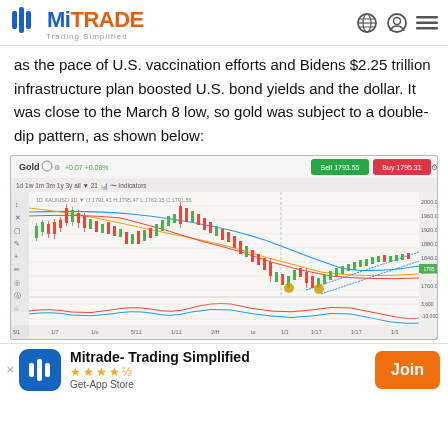MiTRADE Trading Simplified
as the pace of U.S. vaccination efforts and Bidens $2.25 trillion infrastructure plan boosted U.S. bond yields and the dollar. It was close to the March 8 low, so gold was subject to a double-dip pattern, as shown below:
[Figure (screenshot): MiTrade platform screenshot showing Gold (XAU/USD) daily candlestick chart with moving averages, displaying a double-dip pattern. Sell price 1793.55, Buy price 1795.31. Two yellow/gold circles mark the double-bottom lows. A stochastic oscillator is shown below the main chart.]
Mitrade- Trading Simplified ★★★★★ Get-App Store  Join